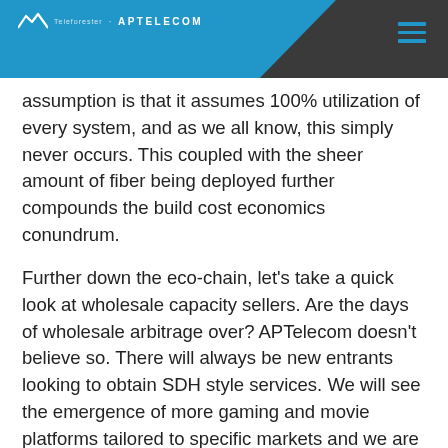APTelecom header with logo and navigation
assumption is that it assumes 100% utilization of every system, and as we all know, this simply never occurs. This coupled with the sheer amount of fiber being deployed further compounds the build cost economics conundrum.
Further down the eco-chain, let’s take a quick look at wholesale capacity sellers. Are the days of wholesale arbitrage over? APTelecom doesn’t believe so. There will always be new entrants looking to obtain SDH style services. We will see the emergence of more gaming and movie platforms tailored to specific markets and we are also fielding requests for SDH capacity from large enterprise that would traditionally buy layer 3 services from carriers. As the market becomes savvier and less dependent on carriers muxing services, these ‘new players’ will most likely replace the old guard. Software defined Networks (SDN) technology and cloud-based